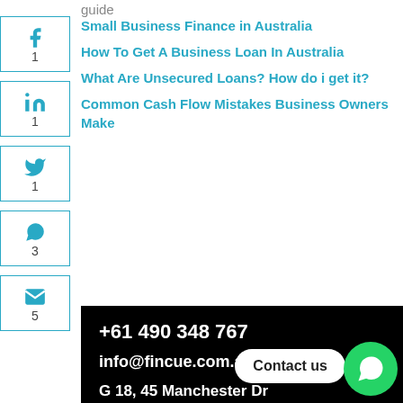guide
Small Business Finance in Australia
How To Get A Business Loan In Australia
What Are Unsecured Loans? How do i get it?
Common Cash Flow Mistakes Business Owners Make
+61 490 348 767
info@fincue.com.au
G 18, 45 Manchester Dr Schofields NSW ... lia
Contact us